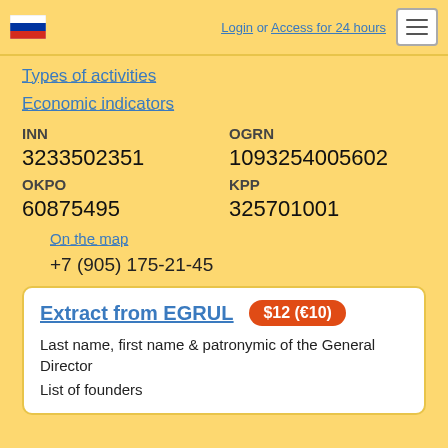Login or Access for 24 hours
Types of activities
Economic indicators
| INN | OGRN |
| --- | --- |
| 3233502351 | 1093254005602 |
| OKPO | KPP |
| 60875495 | 325701001 |
On the map
+7 (905) 175-21-45
Extract from EGRUL  $12 (€10)
Last name, first name & patronymic of the General Director
List of founders